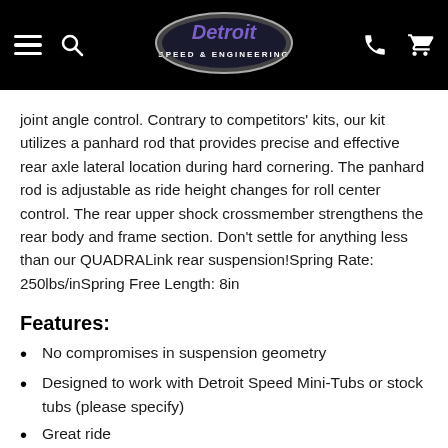Detroit Speed & Engineering
joint angle control. Contrary to competitors' kits, our kit utilizes a panhard rod that provides precise and effective rear axle lateral location during hard cornering. The panhard rod is adjustable as ride height changes for roll center control. The rear upper shock crossmember strengthens the rear body and frame section. Don't settle for anything less than our QUADRALink rear suspension!Spring Rate: 250lbs/inSpring Free Length: 8in
Features:
No compromises in suspension geometry
Designed to work with Detroit Speed Mini-Tubs or stock tubs (please specify)
Great ride
Detroit Speed exclusive no-bind "Swivel-Link™" (Patented) technology
With the Swivel-Links™ pinion angle and/or wheelbase can be